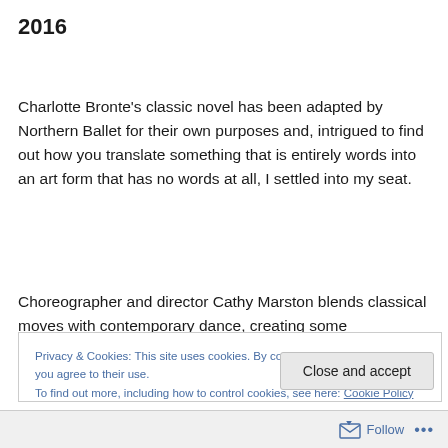2016
Charlotte Bronte's classic novel has been adapted by Northern Ballet for their own purposes and, intrigued to find out how you translate something that is entirely words into an art form that has no words at all, I settled into my seat.
Choreographer and director Cathy Marston blends classical moves with contemporary dance, creating some
Privacy & Cookies: This site uses cookies. By continuing to use this website, you agree to their use.
To find out more, including how to control cookies, see here: Cookie Policy
Close and accept
Follow ...